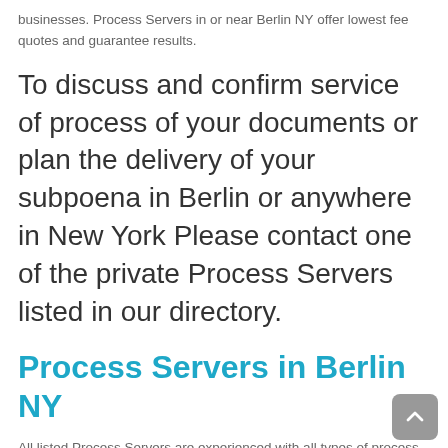businesses. Process Servers in or near Berlin NY offer lowest fee quotes and guarantee results.
To discuss and confirm service of process of your documents or plan the delivery of your subpoena in Berlin or anywhere in New York Please contact one of the private Process Servers listed in our directory.
Process Servers in Berlin NY
All listed Process Servers are experienced with all types of process serving services in and near Berlin. Legal document and subpoena delivery services are guaranteed to be on time anywhere in Rensselaer County, New York.
When you are seeking information and a lowest fee quote, we urge you to